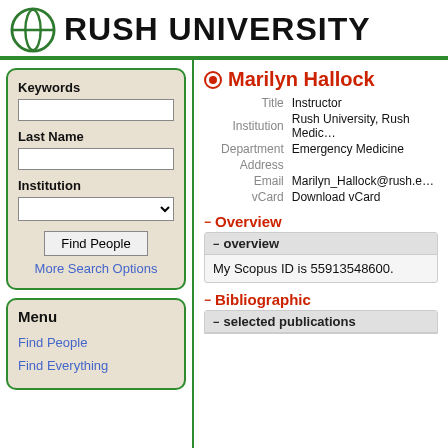RUSH UNIVERSITY
Keywords
Last Name
Institution
Find People
More Search Options
Menu
Find People
Find Everything
Marilyn Hallock
| Field | Value |
| --- | --- |
| Title | Instructor |
| Institution | Rush University, Rush Medic… |
| Department | Emergency Medicine |
| Address |  |
| Email | Marilyn_Hallock@rush.e… |
| vCard | Download vCard |
Overview
overview
My Scopus ID is 55913548600.
Bibliographic
selected publications